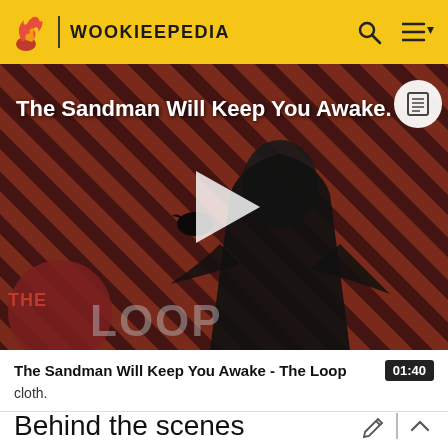WOOKIEEPEDIA
[Figure (screenshot): Video thumbnail showing a dark-robed figure against a red and black diagonal striped background, with 'The Sandman Will Keep You Awake.' text overlay and a play button in the center. The Loop logo is visible in the lower left.]
The Sandman Will Keep You Awake - The Loop
01:40
cloth.
Behind the scenes